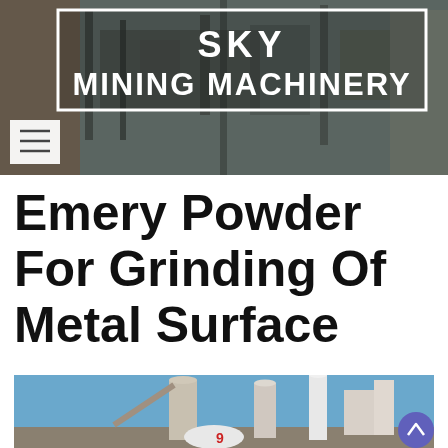[Figure (photo): Industrial mining machinery site header background with dark overlay, showing construction equipment and conveyor structures]
SKY MINING MACHINERY
Emery Powder For Grinding Of Metal Surface
[Figure (photo): Industrial grinding/milling plant with silos, hoppers, and dust collection equipment under a blue sky]